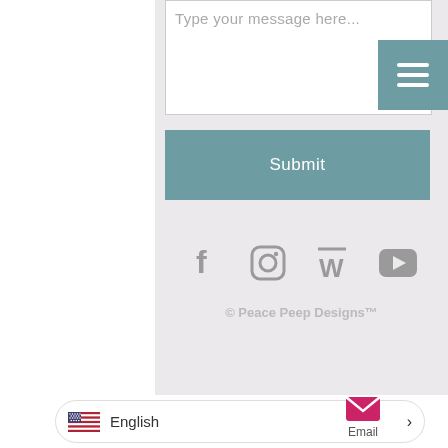[Figure (screenshot): Text message input area with placeholder text 'Type your message here...']
[Figure (other): Teal/blue hamburger menu button with three horizontal white lines]
[Figure (other): Teal Submit button]
[Figure (other): Social media icons row: Facebook (f), Instagram (camera), W (stylized), YouTube (play button)]
© Peace Peep Designs™
[Figure (other): Language selector showing US flag and 'English' with arrow, plus Email icon]
English
Email